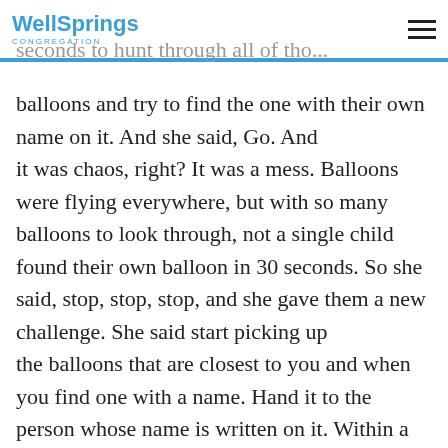WellSprings Congregation
seconds to hunt through all of those balloons and try to find the one with their own name on it. And she said, Go. And it was chaos, right? It was a mess. Balloons were flying everywhere, but with so many balloons to look through, not a single child found their own balloon in 30 seconds. So she said, stop, stop, stop, and she gave them a new challenge. She said start picking up the balloons that are closest to you and when you find one with a name. Hand it to the person whose name is written on it. Within a minute, everybody had their own balloon. Imagine all those schoolchildren plowing through that hallway full of balloons, it is chaotic whether they are looking for their own name or